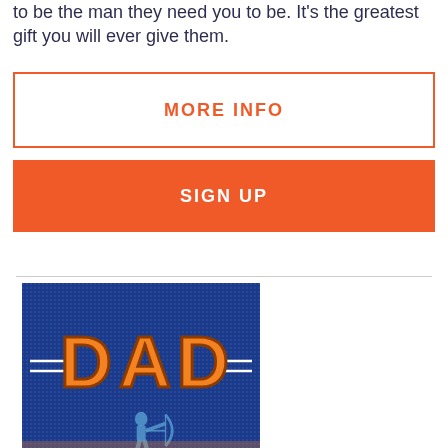to be the man they need you to be. It's the greatest gift you will ever give them.
MORE INFO
SIGN UP
[Figure (illustration): Blue background card with large orange varsity-style letters spelling DAD with decorative horizontal lines on each side, and a silhouette of a person with a bow at the bottom]